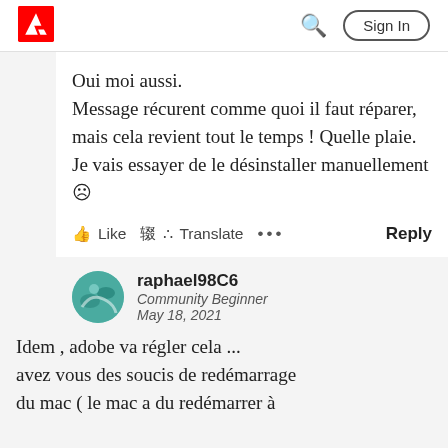Adobe — Sign In
Oui moi aussi.
Message récurent comme quoi il faut réparer, mais cela revient tout le temps ! Quelle plaie.
Je vais essayer de le désinstaller manuellement ☹
Like  Translate  ...  Reply
raphael98C6
Community Beginner
May 18, 2021
Idem , adobe va régler cela ...
avez vous des soucis de redémarrage
du mac ( le mac a du redémarrer à